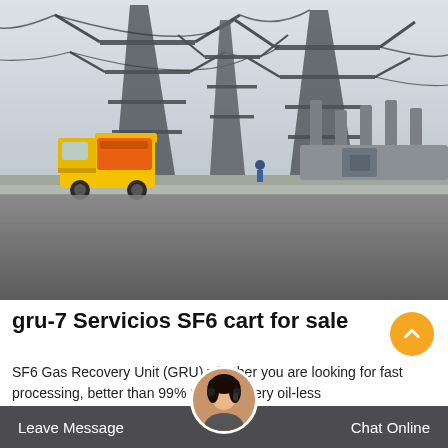[Figure (photo): Photograph of a high-voltage electrical substation with large steel transmission towers/pylons and substation equipment. A yellow truck/service vehicle is parked in front of the substation. A wide road/pavement is in the foreground. The sky is overcast/grey. A worker in blue is visible near the equipment.]
gru-7 Servicios SF6 cart for sale
SF6 Gas Recovery Unit (GRU) whether you are looking for fast processing, better than 99% SF6 recovery oil-less system, unlimited storage capacity...